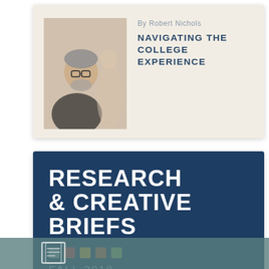[Figure (photo): Photo of an older man with glasses and gray beard, appearing to be helping a student]
By Robert Nichols
NAVIGATING THE COLLEGE EXPERIENCE
RESEARCH & CREATIVE BRIEFS
FALL 2018
+ Expand
[Figure (illustration): Teal/green abstract wave background with a small newspaper/document icon]